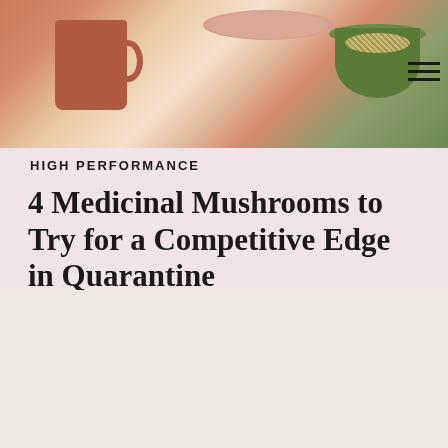[Figure (photo): Food and beverage items on a pale pink background: a terracotta/rust colored mug on the left, a peach/rose colored plate in the center-right, and a green bowl with granola on the far right. A hamburger menu icon appears in the upper right corner.]
HIGH PERFORMANCE
4 Medicinal Mushrooms to Try for a Competitive Edge in Quarantine
Top Resources